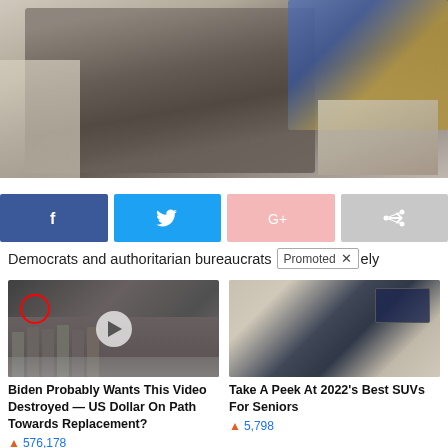[Figure (photo): A man in a dark suit sitting, gesturing with his hand, with another person partially visible on the right holding papers, taken in an official-looking room]
[Figure (infographic): Social sharing buttons: Facebook (dark blue with f icon), Twitter (light blue with bird icon), Google+ (pink with G+ icon), Share (gray with arrow icon)]
Democrats and authoritarian bureaucrats [Promoted X] ely
[Figure (photo): Group of men in suits standing in front of the CIA eagle floor emblem, with a red circle highlighting one person and a play button overlay]
[Figure (photo): Interior of a luxury SUV showing cream leather seats and screens]
Biden Probably Wants This Video Destroyed — US Dollar On Path Towards Replacement?
576,178
Take A Peek At 2022's Best SUVs For Seniors
5,798